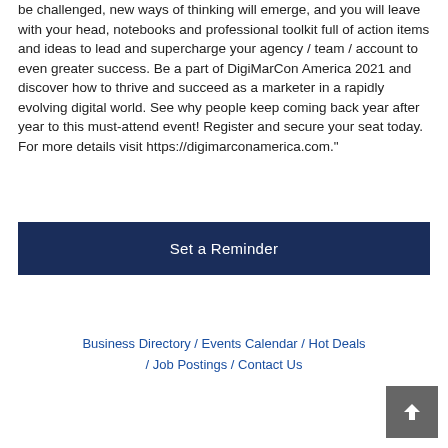be challenged, new ways of thinking will emerge, and you will leave with your head, notebooks and professional toolkit full of action items and ideas to lead and supercharge your agency / team / account to even greater success. Be a part of DigiMarCon America 2021 and discover how to thrive and succeed as a marketer in a rapidly evolving digital world. See why people keep coming back year after year to this must-attend event! Register and secure your seat today. For more details visit https://digimarconamerica.com."
Set a Reminder
Business Directory / Events Calendar / Hot Deals / Job Postings / Contact Us